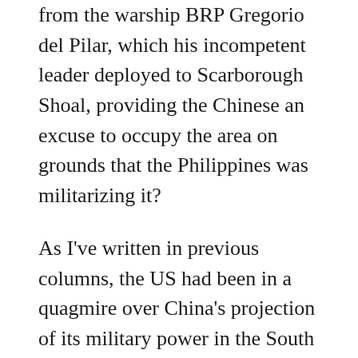from the warship BRP Gregorio del Pilar, which his incompetent leader deployed to Scarborough Shoal, providing the Chinese an excuse to occupy the area on grounds that the Philippines was militarizing it?
As I've written in previous columns, the US had been in a quagmire over China's projection of its military power in the South China Sea. It cannot flex its muscles, militarily or legally in the area. It is not a claimant in any dispute over a territory in the South China Sea. It has refused to join UNCLOS, unlike China, which signed the pact, but with categorical qualifications that it cannot be a basis for determining sovereignty over any territory that it claims. The US cannot count on any of the other claimants — Brunei Darussalam, Malaysia,